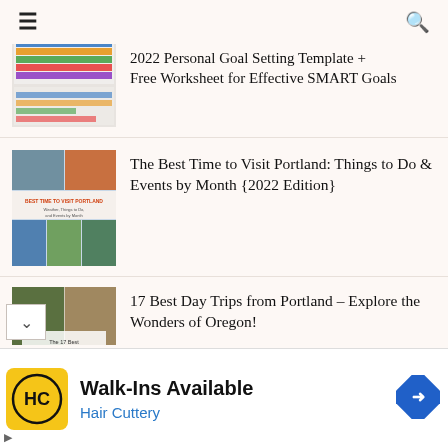Navigation bar with hamburger menu and search icon
[Figure (screenshot): Thumbnail for 2022 Personal Goal Setting Template - spreadsheet with colorful rows]
2022 Personal Goal Setting Template + Free Worksheet for Effective SMART Goals
[Figure (screenshot): Thumbnail for Best Time to Visit Portland article - collage of Portland images with text overlay]
The Best Time to Visit Portland: Things to Do & Events by Month {2022 Edition}
[Figure (screenshot): Thumbnail for 17 Best Day Trips from Portland - collage of Oregon nature images]
17 Best Day Trips from Portland – Explore the Wonders of Oregon!
[Figure (screenshot): Thumbnail for Best Portland Breweries article - partially visible]
Best Portland Breweries: Map & List of ALL 70+ Still Open in 2022
[Figure (infographic): Advertisement: Walk-Ins Available - Hair Cuttery, with HC logo and navigation arrow]